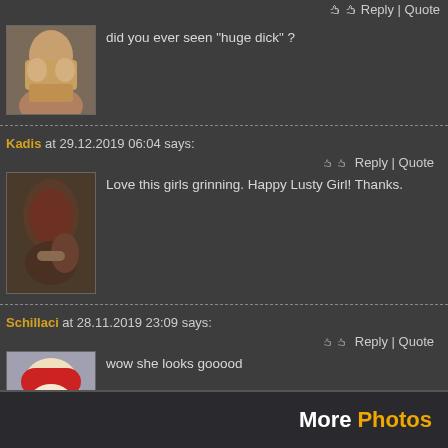🖒 🖒 Reply | Quote
did you ever seen "huge dick" ?
Kadis at 29.12.2019 06:04 says:
🖒 🖒 Reply | Quote
Love this girls grinning. Happy Lusty Girl! Thanks.
Schillaci at 28.11.2019 23:09 says:
🖒 🖒 Reply | Quote
wow she looks gooood
More Photos